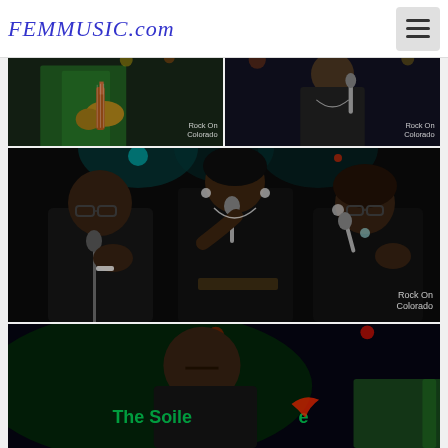FEMMUSIC.com
[Figure (photo): Top-left photo: close-up of a musician in a green jacket playing an instrument, with 'Rock On Colorado' watermark]
[Figure (photo): Top-right photo: close-up of a female singer in black dress near microphone, with 'Rock On Colorado' watermark]
[Figure (photo): Middle large photo: three female singers on stage performing at microphones, dressed in black, dimly lit stage with 'Rock On Colorado' watermark]
[Figure (photo): Bottom partial photo: male performer on stage at 'The Soiled Dove' venue, green stage lighting]